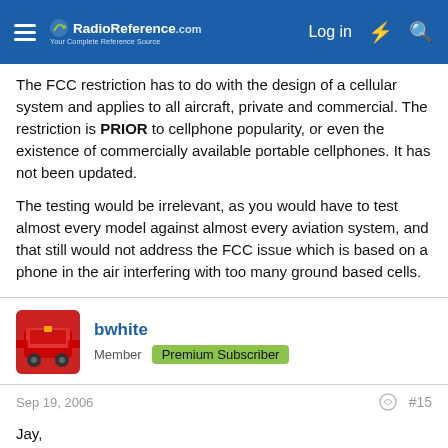RadioReference.com — Log in
The FCC restriction has to do with the design of a cellular system and applies to all aircraft, private and commercial. The restriction is PRIOR to cellphone popularity, or even the existence of commercially available portable cellphones. It has not been updated.
The testing would be irrelevant, as you would have to test almost every model against almost every aviation system, and that still would not address the FCC issue which is based on a phone in the air interfering with too many ground based cells.
bwhite — Member — Premium Subscriber
Sep 19, 2006 — #15
Jay,
If you can't see the connection between doing away with the cell phone restriction IF cell phones are proven not to adversely